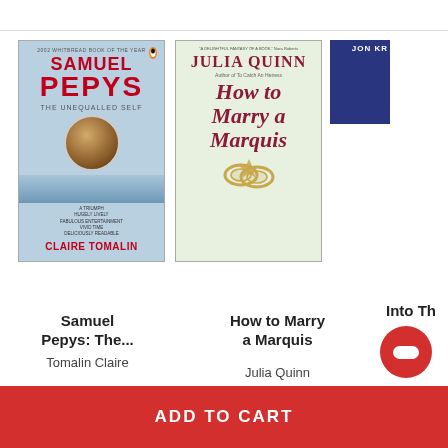[Figure (photo): Book cover: Samuel Pepys The Unequalled Self by Claire Tomalin, Penguin edition with blue cover, portrait medallion]
[Figure (photo): Book cover: How to Marry a Marquis by Julia Quinn, light green cover with cursive title and gold rings]
[Figure (photo): Partial book cover: Into Th... by Jon Kr..., dark blue cover (partially visible)]
Samuel Pepys: The...
Tomalin Claire
How to Marry a Marquis
Julia Quinn
Into Th
Jon Kr
LIVE Chat
ADD TO CART